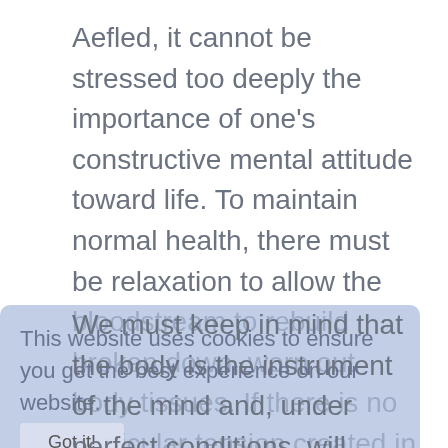Aefled, it cannot be stressed too deeply the importance of one's constructive mental attitude toward life. To maintain normal health, there must be relaxation to allow the bloodstream to rebuild broken down, worn out body tissues. If there is no particular tension created in any part of the body through an over predominance of any particular number, then poisons from the bloodstream would be carried away through the natural channels of elimination. Thus we see how necessary it is that the invisible forces that focus upon the physical body through the letters of the name be balanced to create health and relaxation.
We must keep in mind that the body is the instrument of the mind and, under perfect conditions, will perform exactly as the mind decrees. However, since no one is perfect we must recognize the limitation of the mind to control the body to such perfection, understanding that the body itself will function to some degree